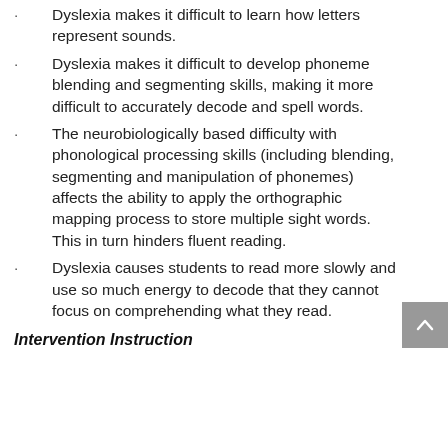Dyslexia makes it difficult to learn how letters represent sounds.
Dyslexia makes it difficult to develop phoneme blending and segmenting skills, making it more difficult to accurately decode and spell words.
The neurobiologically based difficulty with phonological processing skills (including blending, segmenting and manipulation of phonemes) affects the ability to apply the orthographic mapping process to store multiple sight words. This in turn hinders fluent reading.
Dyslexia causes students to read more slowly and use so much energy to decode that they cannot focus on comprehending what they read.
Intervention Instruction